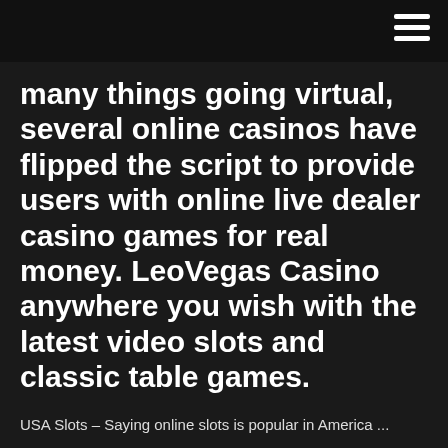many things going virtual, several online casinos have flipped the script to provide users with online live dealer casino games for real money. LeoVegas Casino anywhere you wish with the latest video slots and classic table games.
USA Slots – Saying online slots is popular in America ...
especially since good online casinos add new titles to their
... Slots deposits and withdrawals are similar to the payment options for other online casino real money ...